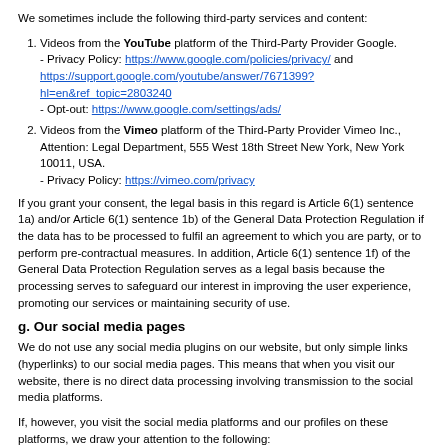We sometimes include the following third-party services and content:
1. Videos from the YouTube platform of the Third-Party Provider Google.
- Privacy Policy: https://www.google.com/policies/privacy/ and https://support.google.com/youtube/answer/7671399?hl=en&ref_topic=2803240
- Opt-out: https://www.google.com/settings/ads/
2. Videos from the Vimeo platform of the Third-Party Provider Vimeo Inc., Attention: Legal Department, 555 West 18th Street New York, New York 10011, USA.
- Privacy Policy: https://vimeo.com/privacy
If you grant your consent, the legal basis in this regard is Article 6(1) sentence 1a) and/or Article 6(1) sentence 1b) of the General Data Protection Regulation if the data has to be processed to fulfil an agreement to which you are party, or to perform pre-contractual measures. In addition, Article 6(1) sentence 1f) of the General Data Protection Regulation serves as a legal basis because the processing serves to safeguard our interest in improving the user experience, promoting our services or maintaining security of use.
g. Our social media pages
We do not use any social media plugins on our website, but only simple links (hyperlinks) to our social media pages. This means that when you visit our website, there is no direct data processing involving transmission to the social media platforms.
If, however, you visit the social media platforms and our profiles on these platforms, we draw your attention to the following:
Twitter